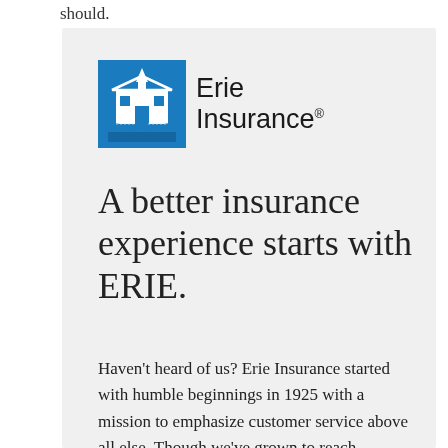should.
[Figure (logo): Erie Insurance logo — blue square with white building/steeple icon on left, text 'Erie Insurance' in dark sans-serif on right with registered trademark symbol]
A better insurance experience starts with ERIE.
Haven't heard of us? Erie Insurance started with humble beginnings in 1925 with a mission to emphasize customer service above all else. Though we've grown to reach